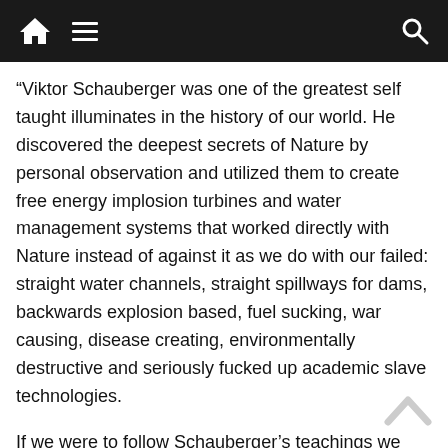Navigation bar with home, menu, and search icons
“Viktor Schauberger was one of the greatest self taught illuminates in the history of our world. He discovered the deepest secrets of Nature by personal observation and utilized them to create free energy implosion turbines and water management systems that worked directly with Nature instead of against it as we do with our failed: straight water channels, straight spillways for dams, backwards explosion based, fuel sucking, war causing, disease creating, environmentally destructive and seriously fucked up academic slave technologies.
If we were to follow Schauberger’s teachings we would reclaim the beauty of our world and make a world wide population: prosperous, abundant, healthy, happy and free of the wickedness, disease, war, pollution, environmental devastation etc. generated by